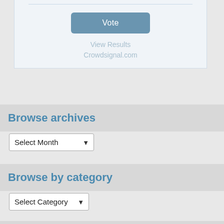[Figure (screenshot): Poll widget with Vote button, View Results and Crowdsignal.com links on light blue background]
Browse archives
[Figure (screenshot): Select Month dropdown widget]
Browse by category
[Figure (screenshot): Select Category dropdown widget]
My recent tweets
[Figure (screenshot): Tweet card showing Liquid rocket Freedom account with avatar and Twitter bird icon, handle @Liquid_f35 · 39m]